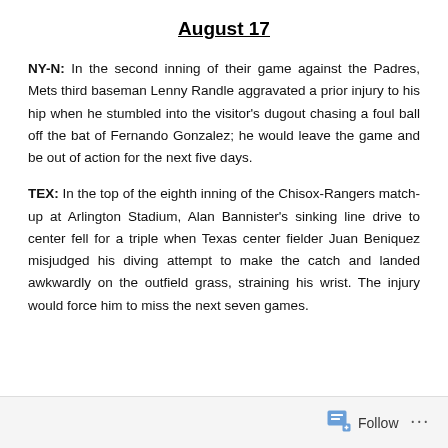August 17
NY-N: In the second inning of their game against the Padres, Mets third baseman Lenny Randle aggravated a prior injury to his hip when he stumbled into the visitor's dugout chasing a foul ball off the bat of Fernando Gonzalez; he would leave the game and be out of action for the next five days.
TEX: In the top of the eighth inning of the Chisox-Rangers match-up at Arlington Stadium, Alan Bannister's sinking line drive to center fell for a triple when Texas center fielder Juan Beniquez misjudged his diving attempt to make the catch and landed awkwardly on the outfield grass, straining his wrist. The injury would force him to miss the next seven games.
Follow ...